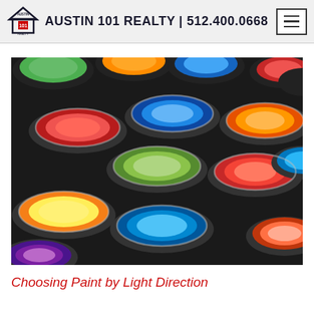AUSTIN 101 REALTY | 512.400.0668
[Figure (photo): Multiple open paint cans viewed from above, filled with various bright colors including red, blue, green, yellow, orange, purple, and cyan, arranged in a dense pattern against a dark background.]
Choosing Paint by Light Direction